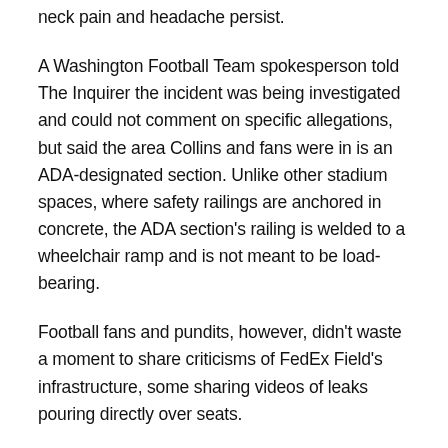neck pain and headache persist.
A Washington Football Team spokesperson told The Inquirer the incident was being investigated and could not comment on specific allegations, but said the area Collins and fans were in is an ADA-designated section. Unlike other stadium spaces, where safety railings are anchored in concrete, the ADA section's railing is welded to a wheelchair ramp and is not meant to be load-bearing.
Football fans and pundits, however, didn't waste a moment to share criticisms of FedEx Field's infrastructure, some sharing videos of leaks pouring directly over seats.